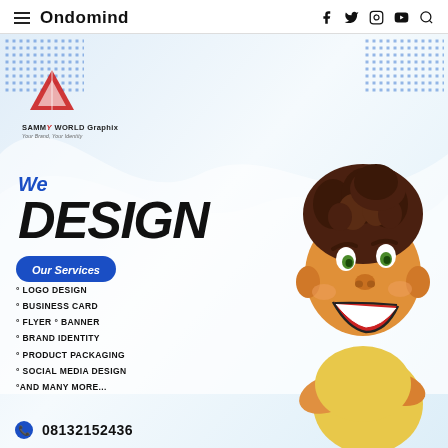Ondomind
[Figure (illustration): Graphic design services flyer for Sammy World Graphix featuring a 3D animated character (smiling boy with curly brown hair, wearing yellow top, arms crossed), logo with red triangle, services list, and phone number 08132152436]
We DESIGN
Our Services
LOGO DESIGN
BUSINESS CARD
FLYER ° BANNER
BRAND IDENTITY
PRODUCT PACKAGING
SOCIAL MEDIA DESIGN
°AND MANY MORE...
08132152436